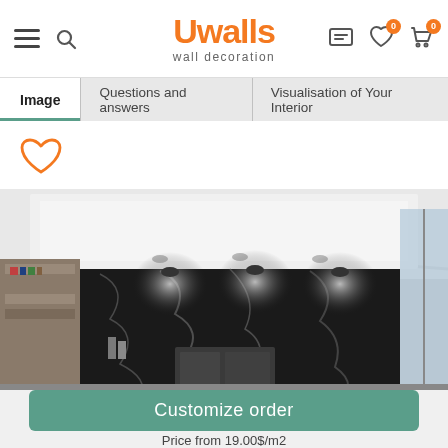Uwalls wall decoration — navigation header with hamburger menu, search, chat, wishlist and cart icons
[Figure (screenshot): Navigation tab bar with three tabs: Image (active, underlined in teal), Questions and answers, Visualisation of Your Interior]
[Figure (illustration): Orange outline heart icon (wishlist/favorite button)]
[Figure (photo): Interior room photo showing a black marble-textured accent wall with white veining, lit by recessed spotlights, with a modern cabinet below, bookshelf visible on left and floor-to-ceiling glass door on right, white coffered ceiling above]
Customize order
Price from 19.00$/m2